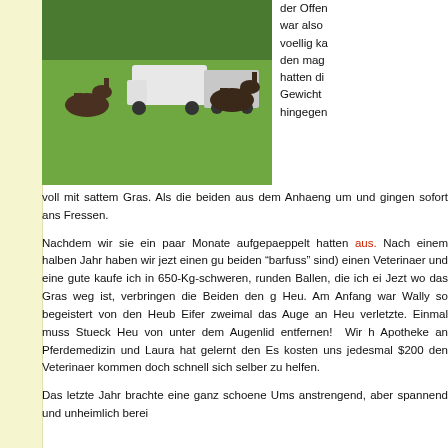[Figure (photo): Horses grazing in a green field with a white truck and trailer in the background, surrounded by trees.]
der Offen war also voellig ka den mag hatten di Gewicht hingegen voll mit sattem Gras. Als die beiden aus dem Anhaeng um und gingen sofort ans Fressen.
Nachdem wir sie ein paar Monate aufgepaeppelt hatten aus. Nach einem halben Jahr haben wir jezt einen gu beiden "barfuss" sind) einen Veterinaer und eine gute kaufe ich in 650-Kg-schweren, runden Ballen, die ich ei Jezt wo das Gras weg ist, verbringen die Beiden den g Heu. Am Anfang war Wally so begeistert von den Heub Eifer zweimal das Auge an Heu verletzte. Einmal muss Stueck Heu von unter dem Augenlid entfernen!  Wir h Apotheke an Pferdemedizin und Laura hat gelernt den Es kosten uns jedesmal $200 den Veterinaer kommen doch schnell sich selber zu helfen.
Das letzte Jahr brachte eine ganz schoene Ums anstrengend, aber spannend und unheimlich berei